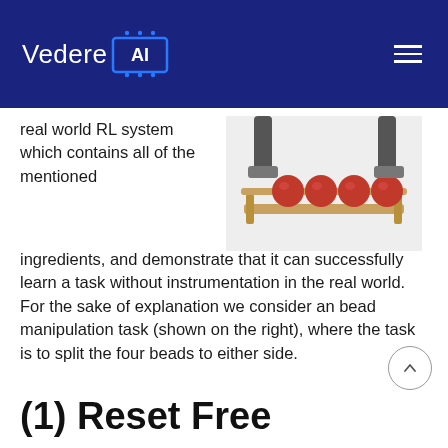Vedere AI
real world RL system which contains all of the mentioned ingredients, and demonstrate that it can successfully learn a task without instrumentation in the real world. For the sake of explanation we consider an bead manipulation task (shown on the right), where the task is to split the four beads to either side.
[Figure (photo): Photo of a bead manipulation task apparatus: a wooden frame with a horizontal rod holding four red spherical beads, with two robotic gripper arms visible at the top on a white background.]
(1) Reset Free